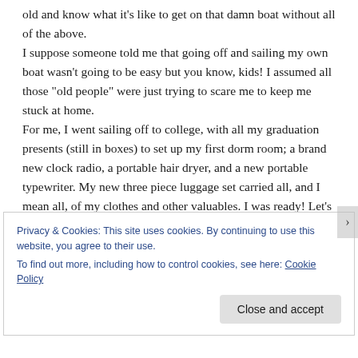old and know what it's like to get on that damn boat without all of the above. I suppose someone told me that going off and sailing my own boat wasn't going to be easy but you know, kids! I assumed all those "old people" were just trying to scare me to keep me stuck at home. For me, I went sailing off to college, with all my graduation presents (still in boxes) to set up my first dorm room; a brand new clock radio, a portable hair dryer, and a new portable typewriter. My new three piece luggage set carried all, and I mean all, of my clothes and other valuables. I was ready! Let's do this college thing.
Privacy & Cookies: This site uses cookies. By continuing to use this website, you agree to their use. To find out more, including how to control cookies, see here: Cookie Policy